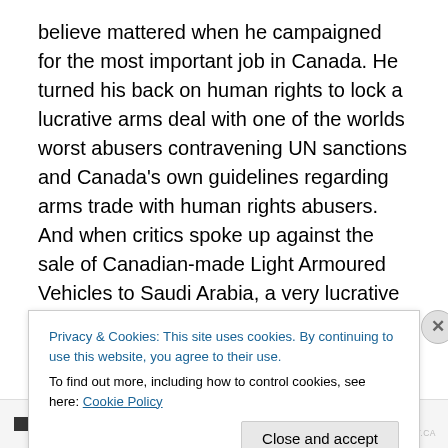believe mattered when he campaigned for the most important job in Canada. He turned his back on human rights to lock a lucrative arms deal with one of the worlds worst abusers contravening UN sanctions and Canada's own guidelines regarding arms trade with human rights abusers. And when critics spoke up against the sale of Canadian-made Light Armoured Vehicles to Saudi Arabia, a very lucrative deal, he lied about why he did so. The LAV deal was a done deal under Harper, he said. Not so. It was his government that signed off on the deal. He then said breaking a contract would harm Canada's reputation
Privacy & Cookies: This site uses cookies. By continuing to use this website, you agree to their use. To find out more, including how to control cookies, see here: Cookie Policy
Close and accept